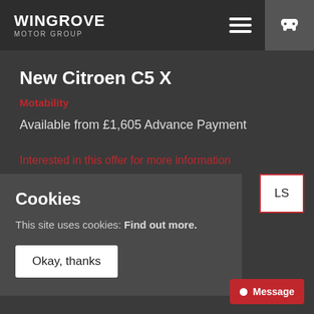WINGROVE MOTOR GROUP
New Citroen C5 X
Motability
Available from £1,605 Advance Payment
Interested in this offer for more information
Cookies
This site uses cookies: Find out more.
Okay, thanks
Message